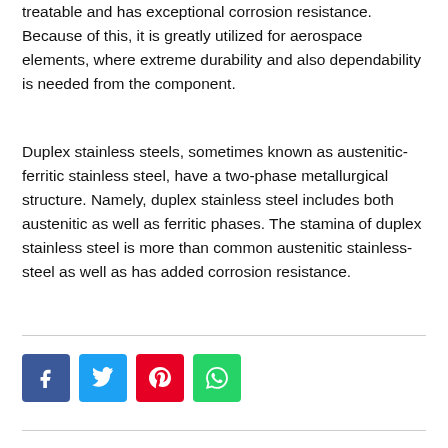treatable and has exceptional corrosion resistance. Because of this, it is greatly utilized for aerospace elements, where extreme durability and also dependability is needed from the component.
Duplex stainless steels, sometimes known as austenitic-ferritic stainless steel, have a two-phase metallurgical structure. Namely, duplex stainless steel includes both austenitic as well as ferritic phases. The stamina of duplex stainless steel is more than common austenitic stainless-steel as well as has added corrosion resistance.
[Figure (other): Social sharing buttons: Facebook (blue), Twitter (light blue), Pinterest (red), WhatsApp (green)]